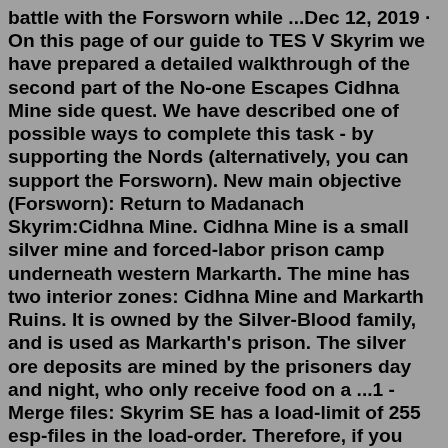battle with the Forsworn while ...Dec 12, 2019 · On this page of our guide to TES V Skyrim we have prepared a detailed walkthrough of the second part of the No-one Escapes Cidhna Mine side quest. We have described one of possible ways to complete this task - by supporting the Nords (alternatively, you can support the Forsworn). New main objective (Forsworn): Return to Madanach Skyrim:Cidhna Mine. Cidhna Mine is a small silver mine and forced-labor prison camp underneath western Markarth. The mine has two interior zones: Cidhna Mine and Markarth Ruins. It is owned by the Silver-Blood family, and is used as Markarth's prison. The silver ore deposits are mined by the prisoners day and night, who only receive food on a ...1 - Merge files: Skyrim SE has a load-limit of 255 esp-files in the load-order. Therefore, if you want to install all mods from this guide (600+), which I highly recommend, then you will have to 'cheat' a little. I have merged some of the esp-files from different but similar mods, which you can see in the load-order. We have to...